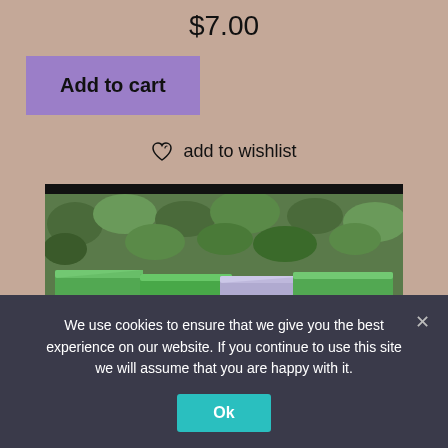$7.00
Add to cart
add to wishlist
[Figure (photo): Close-up photo of handmade soap bars — green and purple colored soaps stacked together with green foliage in the background]
We use cookies to ensure that we give you the best experience on our website. If you continue to use this site we will assume that you are happy with it.
Ok